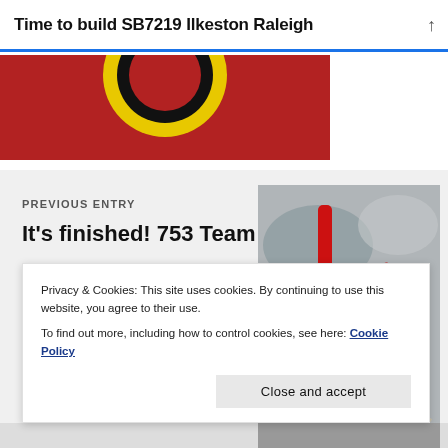Time to build SB7219 Ilkeston Raleigh
[Figure (photo): Partial view of red background with yellow and black circular logo/badge at top of page]
PREVIOUS ENTRY
It’s finished! 753 Team Pro
[Figure (photo): Close-up photo of a red racing bicycle frame showing brake caliper, cables, and wheel rim details]
Privacy & Cookies: This site uses cookies. By continuing to use this website, you agree to their use.
To find out more, including how to control cookies, see here: Cookie Policy
Close and accept